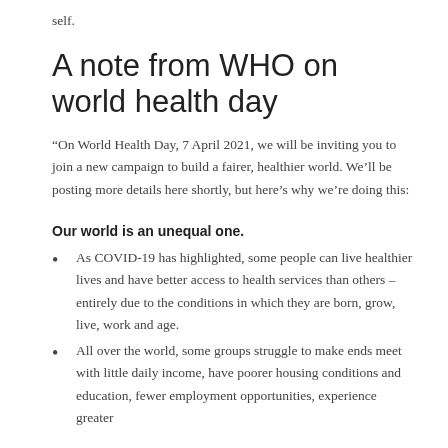self.
A note from WHO on world health day
“On World Health Day, 7 April 2021, we will be inviting you to join a new campaign to build a fairer, healthier world. We’ll be posting more details here shortly, but here’s why we’re doing this:
Our world is an unequal one.
As COVID-19 has highlighted, some people can live healthier lives and have better access to health services than others – entirely due to the conditions in which they are born, grow, live, work and age.
All over the world, some groups struggle to make ends meet with little daily income, have poorer housing conditions and education, fewer employment opportunities, experience greater